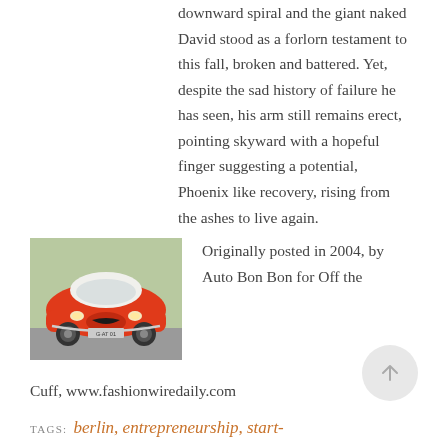downward spiral and the giant naked David stood as a forlorn testament to this fall, broken and battered. Yet, despite the sad history of failure he has seen, his arm still remains erect, pointing skyward with a hopeful finger suggesting a potential, Phoenix like recovery, rising from the ashes to live again.
[Figure (photo): Front view of a vintage orange/red classic car with a license plate reading G-AT 01]
Originally posted in 2004, by Auto Bon Bon for Off the
Cuff, www.fashionwiredaily.com
TAGS: berlin, entrepreneurship, start-